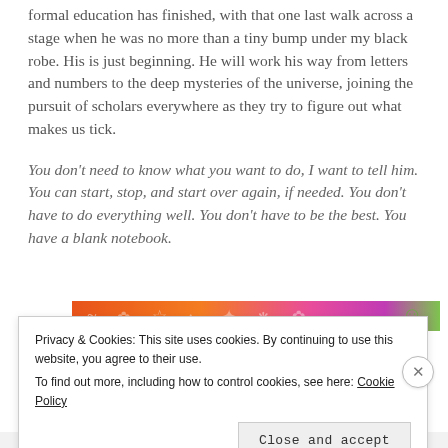formal education has finished, with that one last walk across a stage when he was no more than a tiny bump under my black robe. His is just beginning. He will work his way from letters and numbers to the deep mysteries of the universe, joining the pursuit of scholars everywhere as they try to figure out what makes us tick.
You don't need to know what you want to do, I want to tell him. You can start, stop, and start over again, if needed. You don't have to do everything well. You don't have to be the best. You have a blank notebook.
[Figure (photo): Colorful illustrated strip showing cartoon characters on an orange-to-pink gradient background, partially visible]
Privacy & Cookies: This site uses cookies. By continuing to use this website, you agree to their use. To find out more, including how to control cookies, see here: Cookie Policy
Close and accept